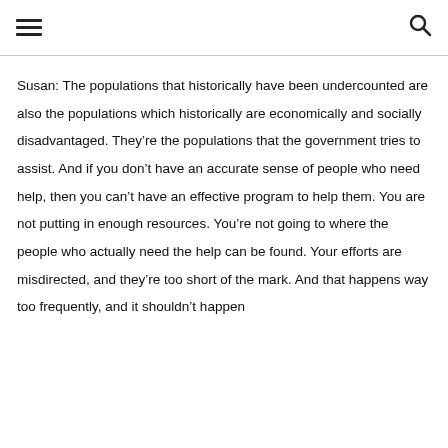[hamburger menu icon] [search icon]
Susan: The populations that historically have been undercounted are also the populations which historically are economically and socially disadvantaged. They’re the populations that the government tries to assist. And if you don’t have an accurate sense of people who need help, then you can’t have an effective program to help them. You are not putting in enough resources. You’re not going to where the people who actually need the help can be found. Your efforts are misdirected, and they’re too short of the mark. And that happens way too frequently, and it shouldn’t happen